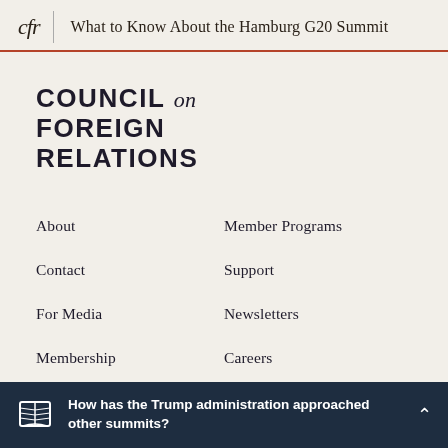cfr | What to Know About the Hamburg G20 Summit
COUNCIL on FOREIGN RELATIONS
About
Member Programs
Contact
Support
For Media
Newsletters
Membership
Careers
How has the Trump administration approached other summits?